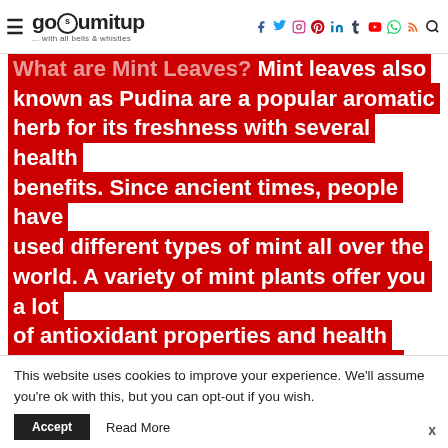gosumitup ... with all bells & whistles — navigation with social icons
What are Mint Leaves? Mint leaves also known as Pudina are a popular aromatic herb for its freshness with several health benefits. Since ancient times, people have used different types of mint all over the world. A variety of mint plants offer you a lot of antioxidant properties and health benefits. Mint leaves are packed with antioxidants and phytonutrients, and contains vitamin A, vitamin C, and B-
This website uses cookies to improve your experience. We'll assume you're ok with this, but you can opt-out if you wish.